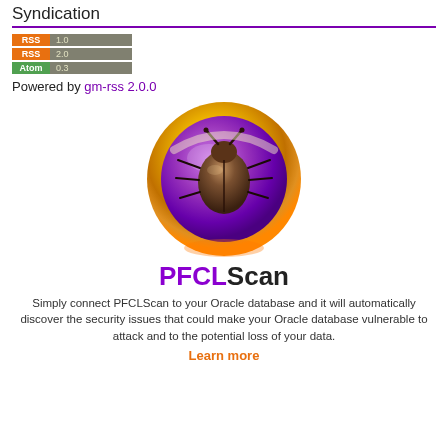Syndication
[Figure (illustration): RSS 1.0, RSS 2.0, Atom 0.3 feed badges stacked vertically]
Powered by gm-rss 2.0.0
[Figure (logo): PFCLScan logo: circular gold-rimmed purple badge with a brown bug insect in the center]
PFCLScan
Simply connect PFCLScan to your Oracle database and it will automatically discover the security issues that could make your Oracle database vulnerable to attack and to the potential loss of your data.
Learn more